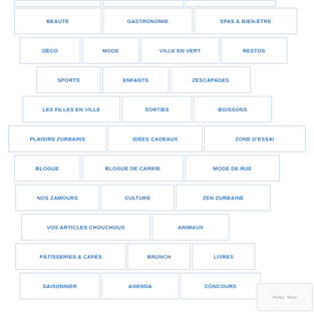BEAUTÉ
GASTRONOMIE
SPAS & BIEN-ÊTRE
DÉCO
MODE
VILLE EN VERT
RESTOS
SPORTS
ENFANTS
ZESCAPADES
LES FILLES EN VILLE
SORTIES
BOISSONS
PLAISIRS ZURBAINS
IDÉES CADEAUX
ZONE D'ESSAI
BLOGUE
BLOGUE DE CARRIE
MODE DE RUE
NOS ZAMOURS
CULTURE
ZEN ZURBAINE
VOS ARTICLES CHOUCHOUS
ANIMAUX
PÂTISSERIES & CAFÉS
BRUNCH
LIVRES
SAISONNIER
AGENDA
CONCOURS